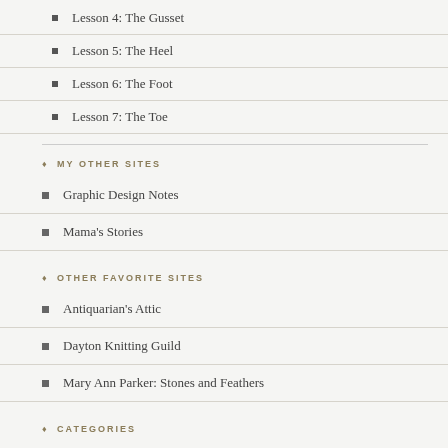Lesson 4: The Gusset
Lesson 5: The Heel
Lesson 6: The Foot
Lesson 7: The Toe
MY OTHER SITES
Graphic Design Notes
Mama's Stories
OTHER FAVORITE SITES
Antiquarian's Attic
Dayton Knitting Guild
Mary Ann Parker: Stones and Feathers
CATEGORIES
Select Category
ARCHIVES